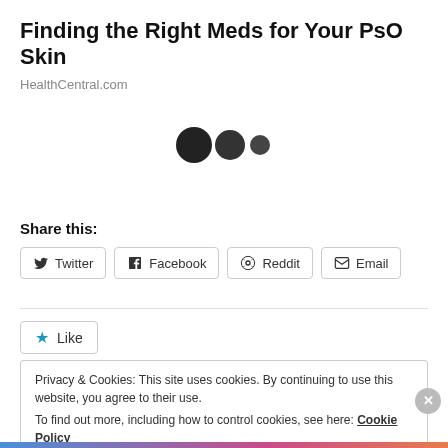Finding the Right Meds for Your PsO Skin
HealthCentral.com
[Figure (other): Three dots of decreasing size (loading indicator or decorative element): large dark circle, medium dark circle, small dark circle]
Share this:
Twitter | Facebook | Reddit | Email
Like
Be the first to like this.
Privacy & Cookies: This site uses cookies. By continuing to use this website, you agree to their use.
To find out more, including how to control cookies, see here: Cookie Policy
Close and accept